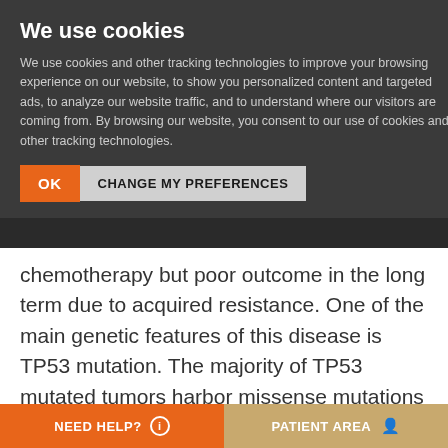We use cookies
We use cookies and other tracking technologies to improve your browsing experience on our website, to show you personalized content and targeted ads, to analyze our website traffic, and to understand where our visitors are coming from. By browsing our website, you consent to our use of cookies and other tracking technologies.
OK | CHANGE MY PREFERENCES
chemotherapy but poor outcome in the long term due to acquired resistance. One of the main genetic features of this disease is TP53 mutation. The majority of TP53 mutated tumors harbor missense mutations in this gene, correlated with p53 accumulation.
TP53 null tumors constitute a specific subgroup characterised by nonsense
NEED HELP? ℹ  |  PATIENT AREA 👤